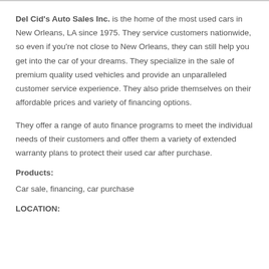Del Cid's Auto Sales Inc. is the home of the most used cars in New Orleans, LA since 1975. They service customers nationwide, so even if you're not close to New Orleans, they can still help you get into the car of your dreams. They specialize in the sale of premium quality used vehicles and provide an unparalleled customer service experience. They also pride themselves on their affordable prices and variety of financing options.
They offer a range of auto finance programs to meet the individual needs of their customers and offer them a variety of extended warranty plans to protect their used car after purchase.
Products:
Car sale, financing, car purchase
LOCATION: